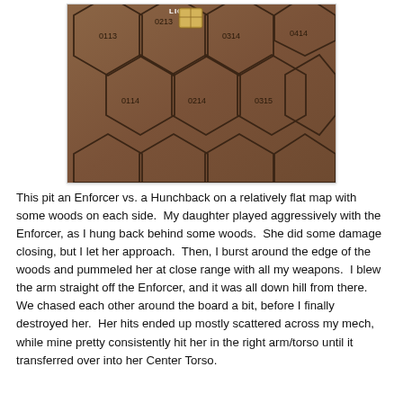[Figure (photo): Overhead photo of a hex-grid wargame board with brown/tan hexagonal tiles labeled with coordinates (0113, 0213, 0114, 0214, 0314, 0315, 0414). A golden game piece sits near the top center on hex 0213. The board has dark grid lines between hexes.]
This pit an Enforcer vs. a Hunchback on a relatively flat map with some woods on each side.  My daughter played aggressively with the Enforcer, as I hung back behind some woods.  She did some damage closing, but I let her approach.  Then, I burst around the edge of the woods and pummeled her at close range with all my weapons.  I blew the arm straight off the Enforcer, and it was all down hill from there.  We chased each other around the board a bit, before I finally destroyed her.  Her hits ended up mostly scattered across my mech, while mine pretty consistently hit her in the right arm/torso until it transferred over into her Center Torso.